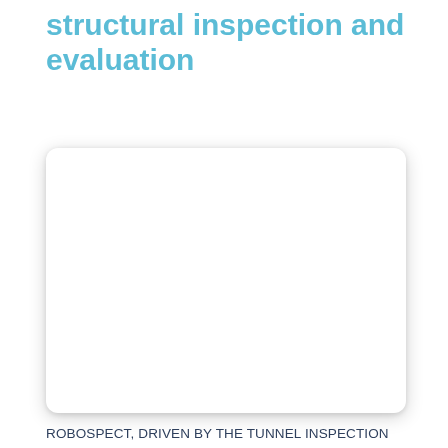structural inspection and evaluation
[Figure (photo): A large white rounded rectangle placeholder image area with shadow, likely containing a photo of a tunnel or robotic inspection equipment in the original document.]
ROBOSPECT, DRIVEN BY THE TUNNEL INSPECTION INDUSTRY, ADAPTS AND INTEGRATES RECENT RESEARCH RESULTS IN INTELLIGENT CONTROL IN ROBOTICS, COMPUTER VISION TAILORED WITH